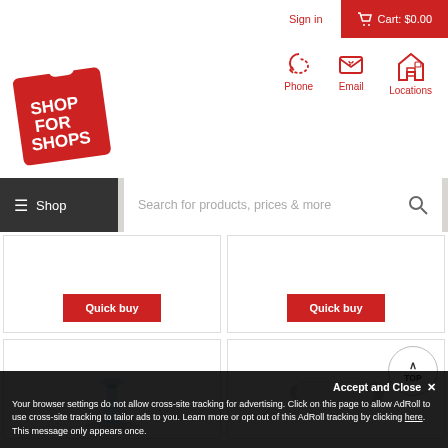Sign in | Cart: $0.00
[Figure (logo): Shop For Shops red shopping bag logo with white text]
Phone   Email   Locations
≡ Shop   Search for products, prices & more
[Figure (other): Quick buy button product cell (left)]
[Figure (other): Quick buy button product cell (right)]
[Figure (other): Glass candle holder product image]
[Figure (other): White roller/tube product image with TOP button]
Accept and Close ✕
Your browser settings do not allow cross-site tracking for advertising. Click on this page to allow AdRoll to use cross-site tracking to tailor ads to you. Learn more or opt out of this AdRoll tracking by clicking here. This message only appears once.